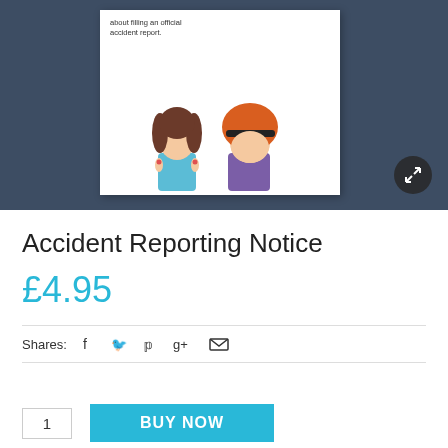[Figure (illustration): Product preview image on dark blue background showing a document card with two illustrated female characters — one with brown braided hair in a blue top, another with curly red/orange hair in a purple top. The document card shows partial text about filling an official accident report.]
Accident Reporting Notice
£4.95
Shares:
1
BUY NOW